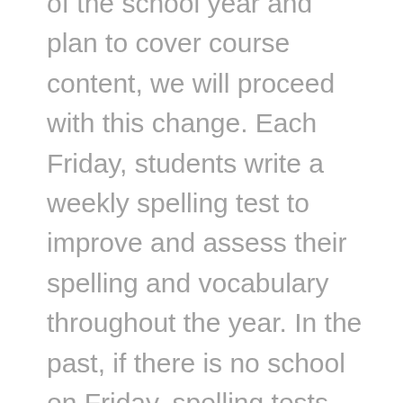of the school year and plan to cover course content, we will proceed with this change. Each Friday, students write a weekly spelling test to improve and assess their spelling and vocabulary throughout the year. In the past, if there is no school on Friday, spelling tests have been taken the following week. However, this will no longer be the case. If there is no school scheduled for a Friday (ie. PD Day or holiday), spelling tests will be written on Thursday instead. If school